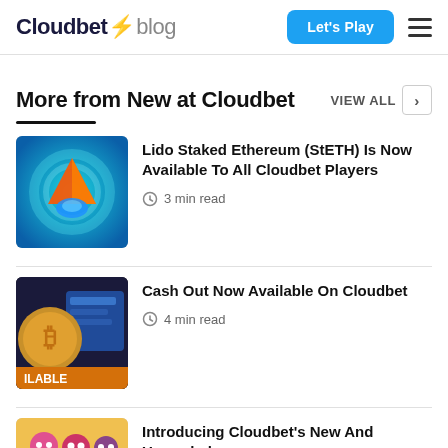Cloudbet blog — Let's Play
More from New at Cloudbet
Lido Staked Ethereum (StETH) Is Now Available To All Cloudbet Players — 3 min read
Cash Out Now Available On Cloudbet — 4 min read
Introducing Cloudbet's New And Upgraded ...